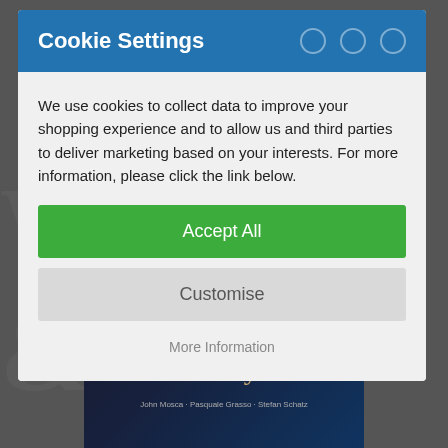[Figure (screenshot): Background showing a greyed-out webpage with a book cover (Chris Byars jazz album) visible at the bottom, with large watermark letters in the background]
Cookie Settings
We use cookies to collect data to improve your shopping experience and to allow us and third parties to deliver marketing based on your interests. For more information, please click the link below.
Accept All
Customise
More Information